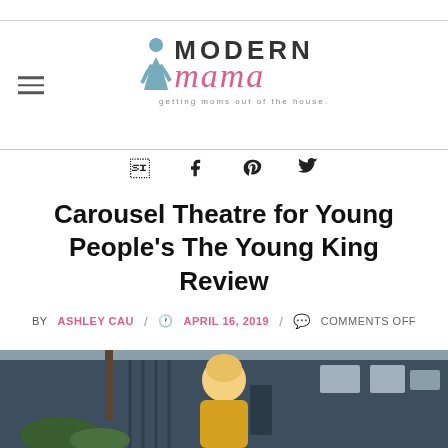Modern Mama — getting moms out of the house.
[Figure (other): Social sharing icons: Facebook, Pinterest, Twitter]
Carousel Theatre for Young People's The Young King Review
BY ASHLEY CAU / APRIL 16, 2019 / COMMENTS OFF
[Figure (photo): Photo of a smiling young woman in a yellow sweater and white jacket standing outdoors in front of a dark blue building]